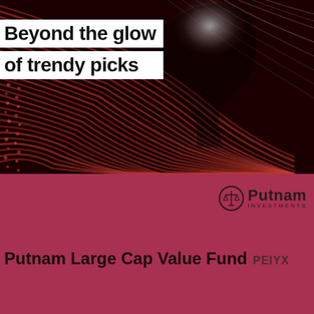[Figure (illustration): Abstract red fiber optic lines forming a human head silhouette profile against dark background, with bright white glow in the center-right area]
Beyond the glow of trendy picks
[Figure (logo): Putnam Investments logo — scales of justice icon followed by 'Putnam' in bold and 'INVESTMENTS' in small caps]
Putnam Large Cap Value Fund PEIYX